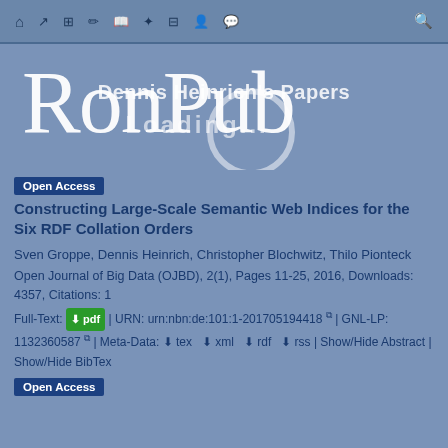Navigation bar with icons
[Figure (logo): RonPub website logo with large serif text 'RonPub' overlaid with 'Dennis Heinrich's Papers' text and a loading indicator (circle and 'Loading...' text)]
Open Access
Constructing Large-Scale Semantic Web Indices for the Six RDF Collation Orders
Sven Groppe, Dennis Heinrich, Christopher Blochwitz, Thilo Pionteck
Open Journal of Big Data (OJBD), 2(1), Pages 11-25, 2016, Downloads: 4357, Citations: 1
Full-Text: pdf | URN: urn:nbn:de:101:1-201705194418 | GNL-LP: 1132360587 | Meta-Data: tex xml rdf rss | Show/Hide Abstract | Show/Hide BibTex
Open Access